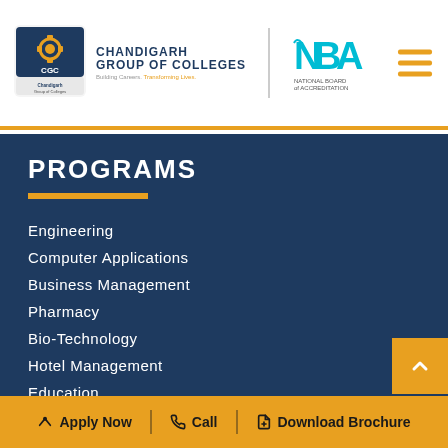[Figure (logo): Chandigarh Group of Colleges (CGC) logo with gear icon and tagline 'Building Careers. Transforming Lives.']
[Figure (logo): National Board of Accreditation (NBA) logo]
PROGRAMS
Engineering
Computer Applications
Business Management
Pharmacy
Bio-Technology
Hotel Management
Education
Commerce
Bachelor of science
QUICK LINKS
Apply Now | Call | Download Brochure